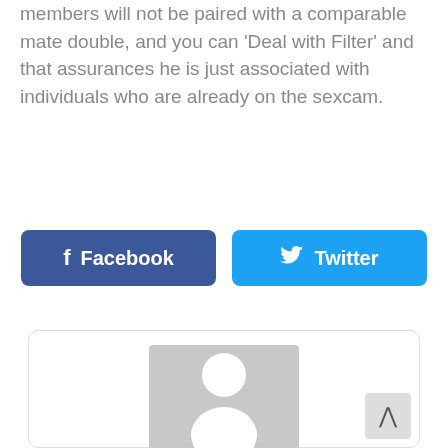members will not be paired with a comparable mate double, and you can ‘Deal with Filter’ and that assurances he is just associated with individuals who are already on the sexcam.
[Figure (other): Facebook and Twitter share buttons]
[Figure (other): User profile card with default avatar placeholder, username 'rackets1', and envelope/message icon]